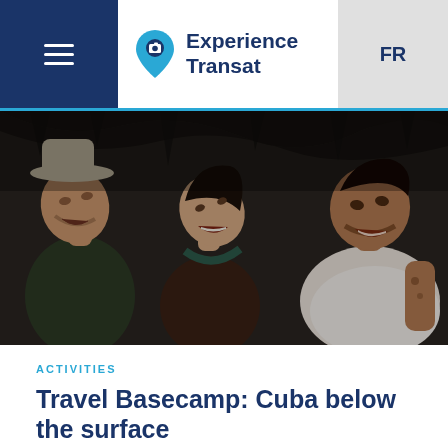Experience Transat | FR
[Figure (photo): Three people (two men and a woman) inside a cave looking upward with expressions of wonder. Dark cave background.]
ACTIVITIES
Travel Basecamp: Cuba below the surface
By Travel Basecamp
After a day of skydiving, Basecampers Sarah, Rodrigo and